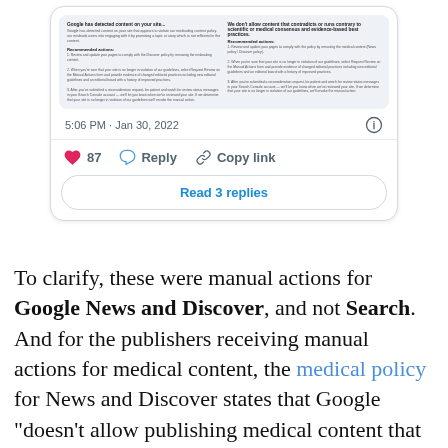[Figure (screenshot): Screenshot of a tweet/social media post showing Google manual action email content with two columns of text, timestamp 5:06 PM Jan 30 2022, 87 likes, Reply, Copy link actions, and a Read 3 replies button]
To clarify, these were manual actions for Google News and Discover, and not Search. And for the publishers receiving manual actions for medical content, the medical policy for News and Discover states that Google "doesn't allow publishing medical content that contradicts or runs contrary to scientific